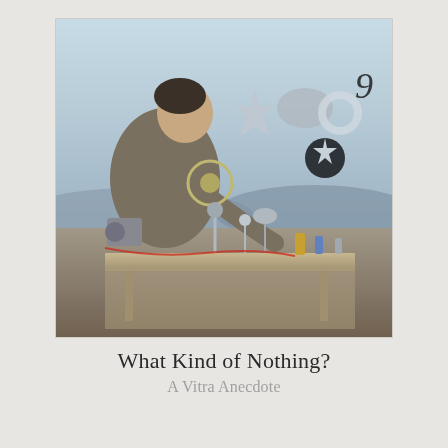[Figure (photo): A man leaning over a table outdoors, carefully working on a collection of metallic kinetic sculptures with various shapes including fan blades, gears, discs, star shapes, and other mechanical forms. The background shows a hilly landscape with a light blue sky.]
What Kind of Nothing?
A Vitra Anecdote